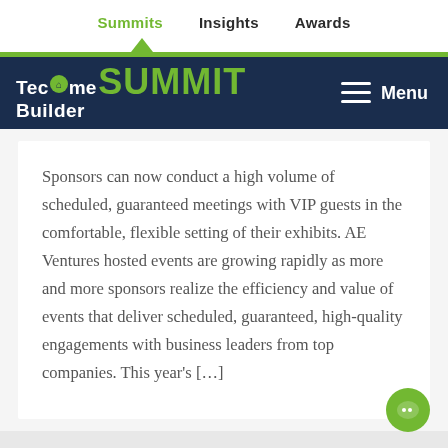Summits  Insights  Awards
[Figure (logo): TecHome Builder SUMMIT logo on dark navy background with hamburger Menu button]
Sponsors can now conduct a high volume of scheduled, guaranteed meetings with VIP guests in the comfortable, flexible setting of their exhibits. AE Ventures hosted events are growing rapidly as more and more sponsors realize the efficiency and value of events that deliver scheduled, guaranteed, high-quality engagements with business leaders from top companies. This year's […]